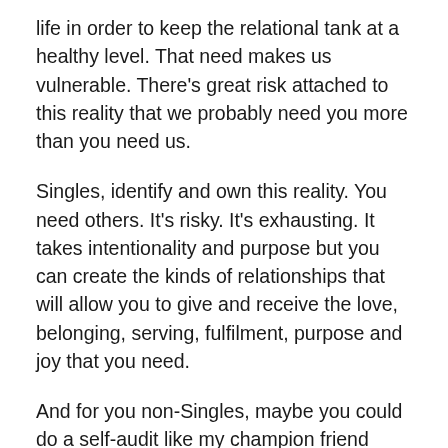life in order to keep the relational tank at a healthy level. That need makes us vulnerable. There's great risk attached to this reality that we probably need you more than you need us.
Singles, identify and own this reality. You need others. It's risky. It's exhausting. It takes intentionality and purpose but you can create the kinds of relationships that will allow you to give and receive the love, belonging, serving, fulfilment, purpose and joy that you need.
And for you non-Singles, maybe you could do a self-audit like my champion friend Nancy, to recognise the level of relational filling you operate out of before leaving your house or making any extra effort. It might increase your sensitivity to the needs of the Singles in your world and grow your understanding of the neediness they experience